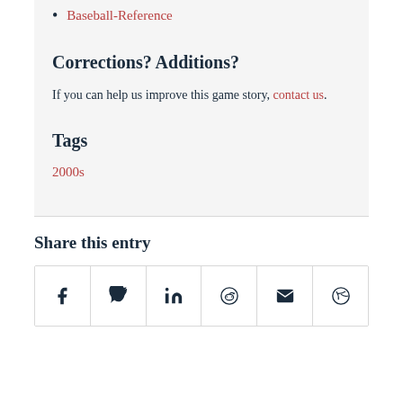Baseball-Reference
Corrections? Additions?
If you can help us improve this game story, contact us.
Tags
2000s
Share this entry
[Figure (infographic): Social sharing icons row: Facebook, Twitter, LinkedIn, Reddit, Email, share button]